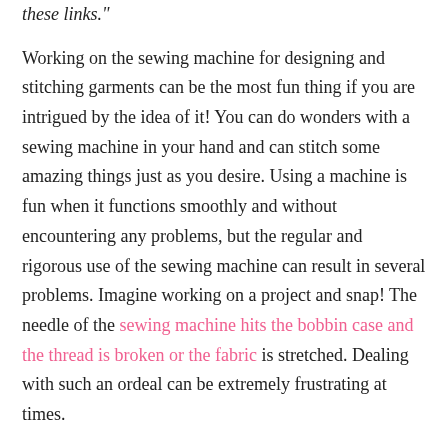these links."
Working on the sewing machine for designing and stitching garments can be the most fun thing if you are intrigued by the idea of it! You can do wonders with a sewing machine in your hand and can stitch some amazing things just as you desire. Using a machine is fun when it functions smoothly and without encountering any problems, but the regular and rigorous use of the sewing machine can result in several problems. Imagine working on a project and snap! The needle of the sewing machine hits the bobbin case and the thread is broken or the fabric is stretched. Dealing with such an ordeal can be extremely frustrating at times.
In this article, we will be going to discuss the various